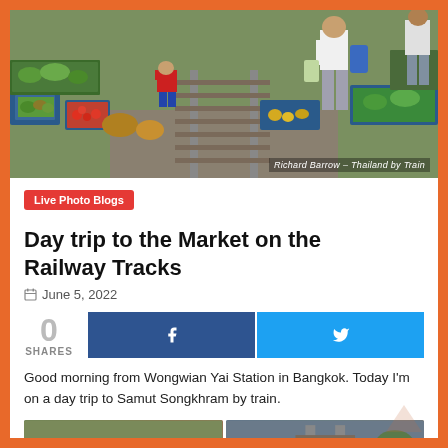[Figure (photo): Outdoor market on railway tracks with vendors selling vegetables and produce; people walking among blue crates and baskets filled with colorful vegetables, tomatoes, herbs, squash. Photo credit: Richard Barrow - Thailand by Train]
Live Photo Blogs
Day trip to the Market on the Railway Tracks
June 5, 2022
0 SHARES
Good morning from Wongwian Yai Station in Bangkok. Today I'm on a day trip to Samut Songkhram by train.
[Figure (photo): Two small thumbnail images at the bottom of the page showing the market scene]